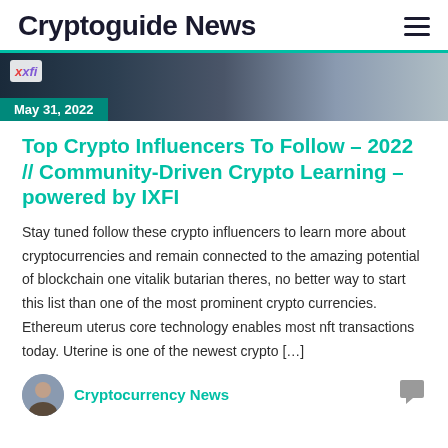Cryptoguide News
[Figure (photo): Hero image showing a person in dark background with IXFI logo overlay and date badge May 31, 2022]
Top Crypto Influencers To Follow – 2022 // Community-Driven Crypto Learning – powered by IXFI
Stay tuned follow these crypto influencers to learn more about cryptocurrencies and remain connected to the amazing potential of blockchain one vitalik butarian theres, no better way to start this list than one of the most prominent crypto currencies. Ethereum uterus core technology enables most nft transactions today. Uterine is one of the newest crypto […]
Cryptocurrency News